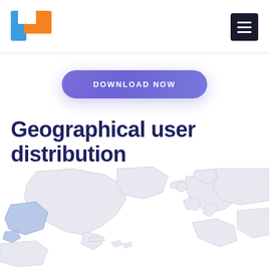[Figure (logo): App logo with blue and orange square bracket/puzzle piece shapes]
[Figure (other): Hamburger menu icon - three white horizontal lines on dark square background]
DOWNLOAD NOW
Geographical user distribution
[Figure (map): Partial world map showing North America, Europe, Russia in light gray with country outlines, with a highlighted blue region over Alaska/Western US area]